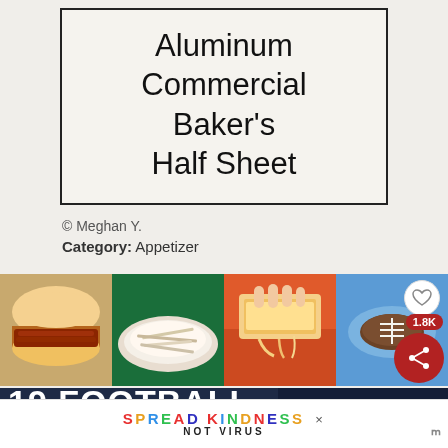[Figure (other): Product label box with text: Aluminum Commercial Baker's Half Sheet]
© Meghan Y.
Category: Appetizer
[Figure (photo): Row of four food photos: pulled pork sandwich, coleslaw bowl, person holding cheesy bread, football-shaped meat loaf on blue plate]
[Figure (infographic): Dark navy banner with white text: 19 FOOTBALL TAILGATING]
[Figure (other): What's Next overlay: Hot Mulled Apple Cider with thumbnail]
SPREAD KINDNESS NOT VIRUS